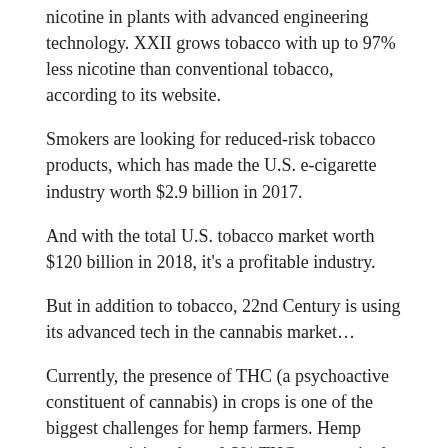nicotine in plants with advanced engineering technology. XXII grows tobacco with up to 97% less nicotine than conventional tobacco, according to its website.
Smokers are looking for reduced-risk tobacco products, which has made the U.S. e-cigarette industry worth $2.9 billion in 2017.
And with the total U.S. tobacco market worth $120 billion in 2018, it's a profitable industry.
But in addition to tobacco, 22nd Century is using its advanced tech in the cannabis market…
Currently, the presence of THC (a psychoactive constituent of cannabis) in crops is one of the biggest challenges for hemp farmers. Hemp crops containing above 0.3% THC are required by U.S. law to be destroyed.
22nd Century is currently developing industrial hemp plants that contain zero THC.
Through its subsidiary, Botanical Genetics LLC, XXII is also